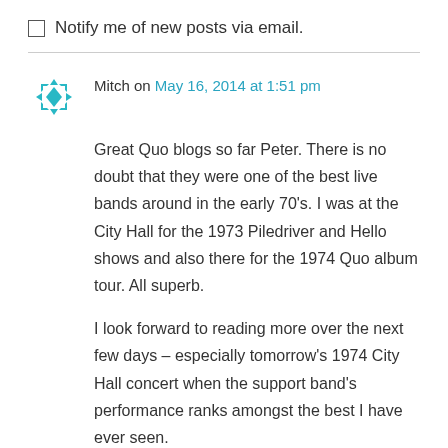Notify me of new posts via email.
Mitch on May 16, 2014 at 1:51 pm
Great Quo blogs so far Peter. There is no doubt that they were one of the best live bands around in the early 70's. I was at the City Hall for the 1973 Piledriver and Hello shows and also there for the 1974 Quo album tour. All superb.

I look forward to reading more over the next few days – especially tomorrow's 1974 City Hall concert when the support band's performance ranks amongst the best I have ever seen.
↳ Reply